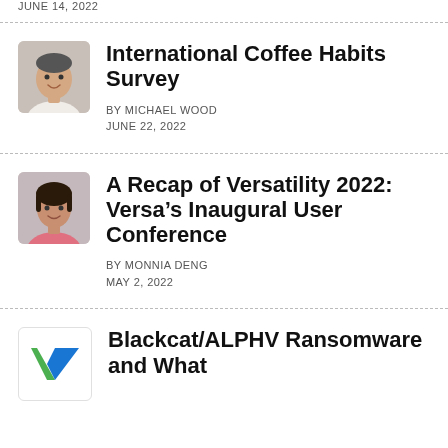JUNE 14, 2022
International Coffee Habits Survey
BY MICHAEL WOOD
JUNE 22, 2022
A Recap of Versatility 2022: Versa’s Inaugural User Conference
BY MONNIA DENG
MAY 2, 2022
Blackcat/ALPHV Ransomware and What